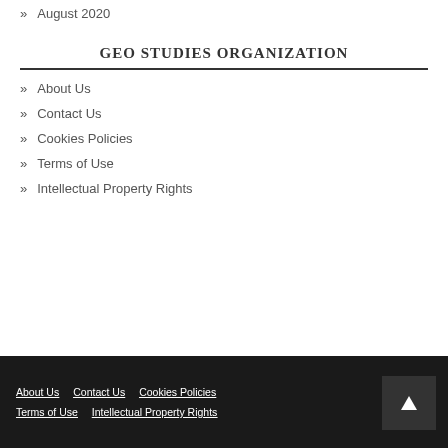» August 2020
GEO STUDIES ORGANIZATION
» About Us
» Contact Us
» Cookies Policies
» Terms of Use
» Intellectual Property Rights
About Us   Contact Us   Cookies Policies   Terms of Use   Intellectual Property Rights